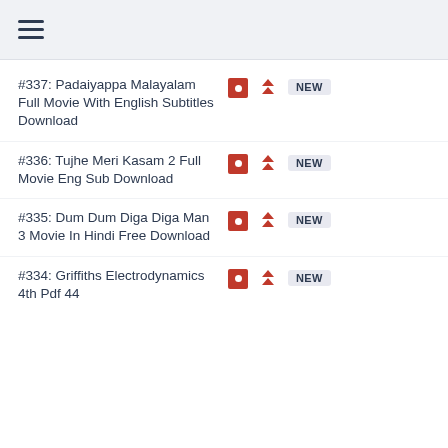≡
#337: Padaiyappa Malayalam Full Movie With English Subtitles Download
#336: Tujhe Meri Kasam 2 Full Movie Eng Sub Download
#335: Dum Dum Diga Diga Man 3 Movie In Hindi Free Download
#334: Griffiths Electrodynamics 4th Pdf 44